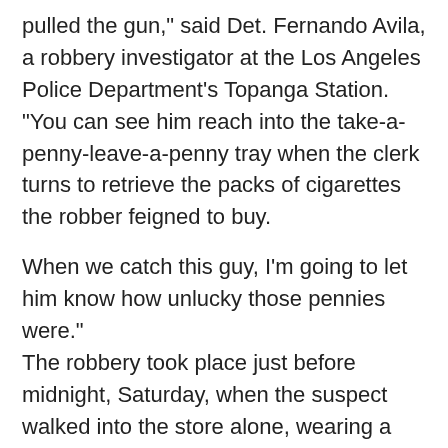pulled the gun," said Det. Fernando Avila, a robbery investigator at the Los Angeles Police Department's Topanga Station. "You can see him reach into the take-a-penny-leave-a-penny tray when the clerk turns to retrieve the packs of cigarettes the robber feigned to buy.
When we catch this guy, I'm going to let him know how unlucky those pennies were."
The robbery took place just before midnight, Saturday, when the suspect walked into the store alone, wearing a black Monster hoodie, Avila said.
"He displays money and feigns buying cigarettes to distract the clerk, then pulls the gun," Avila said. "…This is top quality video and anyone who knows this man is sure to recognize him."